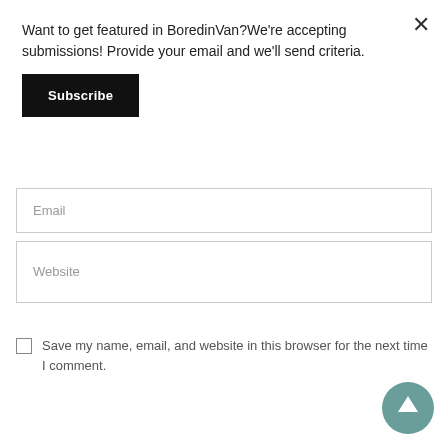Want to get featured in BoredinVan?We're accepting submissions! Provide your email and we'll send criteria.
Subscribe
Email
Website
Save my name, email, and website in this browser for the next time I comment.
POST COMMENT